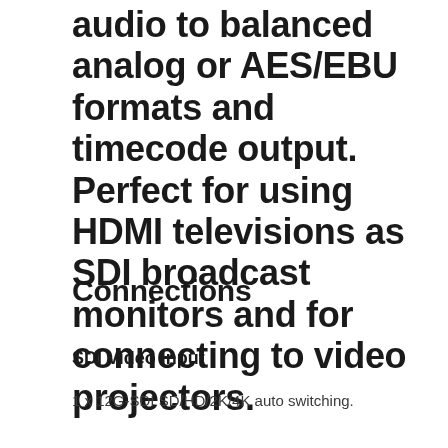audio to balanced analog or AES/EBU formats and timecode output. Perfect for using HDMI televisions as SDI broadcast monitors and for connecting to video projectors.
Connections
SDI Video Input
1 x 12G-SDI SD/HD/2K/4K auto switching.